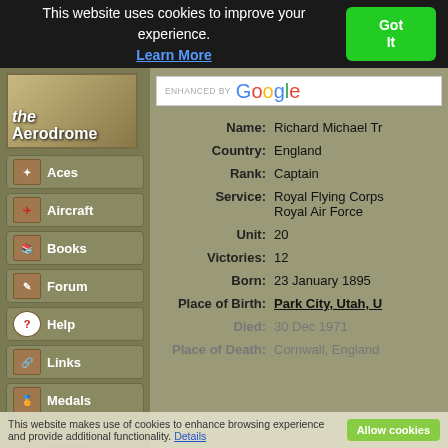This website uses cookies to improve your experience. Learn More | Got It
[Figure (screenshot): The Aerodrome website logo with navigation menu on olive/khaki background]
[Figure (screenshot): ENHANCED BY Google search bar]
| Field | Value |
| --- | --- |
| Name: | Richard Michael Tr... |
| Country: | England |
| Rank: | Captain |
| Service: | Royal Flying Corps / Royal Air Force |
| Unit: | 20 |
| Victories: | 12 |
| Born: | 23 January 1895 |
| Place of Birth: | Park City, Utah, U... |
| Died: | 30 Dec 1971 |
| Place of Death: | Cornwall, England |
This website makes use of cookies to enhance browsing experience and provide additional functionality. Details | Allow cookies